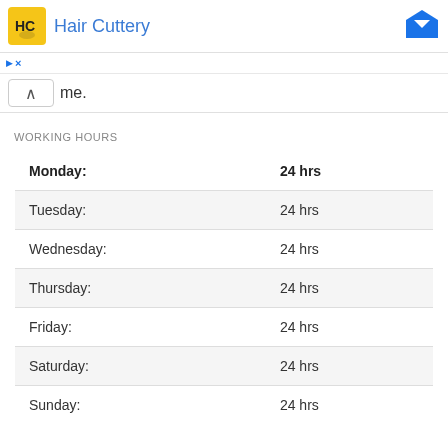Hair Cuttery
me.
WORKING HOURS
| Day | Hours |
| --- | --- |
| Monday: | 24 hrs |
| Tuesday: | 24 hrs |
| Wednesday: | 24 hrs |
| Thursday: | 24 hrs |
| Friday: | 24 hrs |
| Saturday: | 24 hrs |
| Sunday: | 24 hrs |